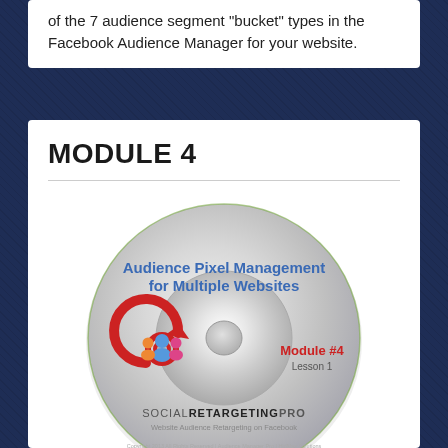of the 7 audience segment "bucket" types in the Facebook Audience Manager for your website.
MODULE 4
[Figure (illustration): A CD/DVD disc illustration labeled 'Audience Pixel Management for Multiple Websites', Module #4, Lesson 1, with a social retargeting icon (people with circular arrow) and SOCIALRETARGETINGPRO branding at the bottom.]